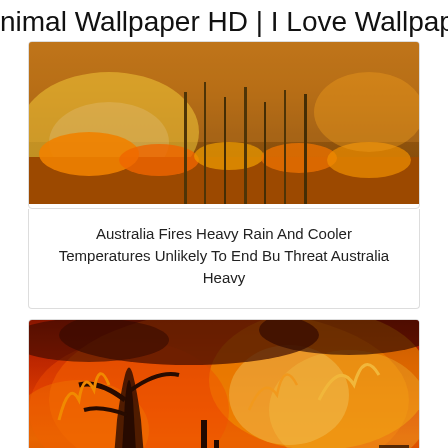nimal Wallpaper HD | I Love Wallpap
[Figure (photo): Australia bushfire photo showing grassland and trees engulfed in orange flames with smoky haze]
Australia Fires Heavy Rain And Cooler Temperatures Unlikely To End Bu Threat Australia Heavy
[Figure (photo): Intense Australian bushfire photo showing trees silhouetted against massive orange and red flames with dark smoke]